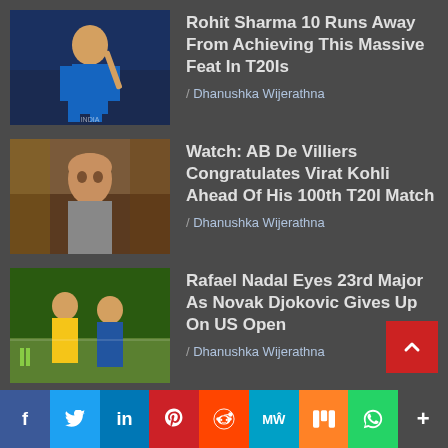[Figure (photo): Cricket player (Rohit Sharma) in blue India jersey holding bat]
Rohit Sharma 10 Runs Away From Achieving This Massive Feat In T20Is
/ Dhanushka Wijerathna
[Figure (photo): Man (AB De Villiers) looking at camera, casual setting]
Watch: AB De Villiers Congratulates Virat Kohli Ahead Of His 100th T20I Match
/ Dhanushka Wijerathna
[Figure (photo): Rafael Nadal and others on tennis court]
Rafael Nadal Eyes 23rd Major As Novak Djokovic Gives Up On US Open
/ Dhanushka Wijerathna
[Figure (photo): Pregnant woman (Bipasha Basu) in green dress]
A Page From Mom-To-Be Bipasha Basu’s Maternity Diaries. See Post
/ Dhanushka Wijerathna